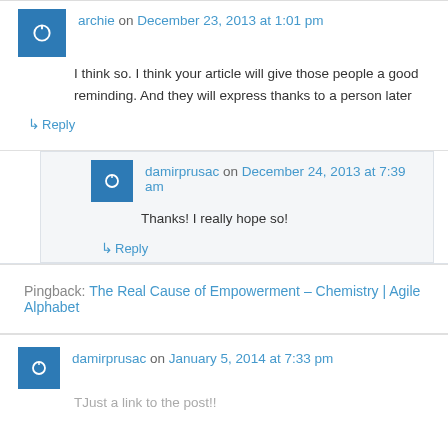archie on December 23, 2013 at 1:01 pm
I think so. I think your article will give those people a good reminding. And they will express thanks to a person later
↳ Reply
damirprusac on December 24, 2013 at 7:39 am
Thanks! I really hope so!
↳ Reply
Pingback: The Real Cause of Empowerment – Chemistry | Agile Alphabet
damirprusac on January 5, 2014 at 7:33 pm
TJust a link to the post!!